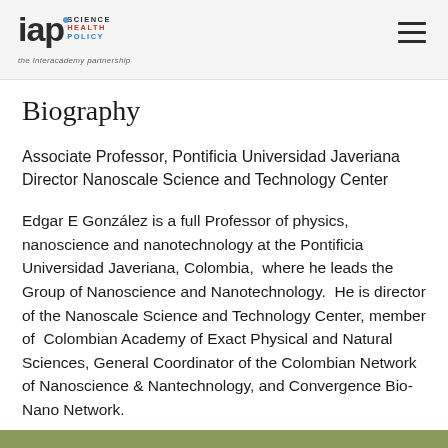IAP Science Health Policy — the Interacademy Partnership
Biography
Associate Professor, Pontificia Universidad Javeriana
Director Nanoscale Science and Technology Center
Edgar E González is a full Professor of physics, nanoscience and nanotechnology at the Pontificia Universidad Javeriana, Colombia,  where he leads the Group of Nanoscience and Nanotechnology.  He is director of the Nanoscale Science and Technology Center, member of  Colombian Academy of Exact Physical and Natural Sciences, General Coordinator of the Colombian Network of Nanoscience & Nantechnology, and Convergence Bio-Nano Network.